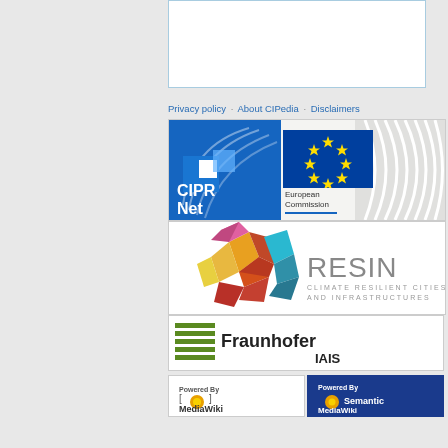[Figure (other): White content box with blue border at top]
Privacy policy · About CIPedia · Disclaimers
[Figure (logo): CIPRNet logo - blue squares and arcs with CIPRNet text]
[Figure (logo): European Commission logo with EU flag stars]
[Figure (logo): RESIN - Climate Resilient Cities and Infrastructures logo with colorful crystal shapes]
[Figure (logo): Fraunhofer IAIS logo with green stripes]
[Figure (logo): Powered by MediaWiki badge]
[Figure (logo): Powered by Semantic MediaWiki badge]